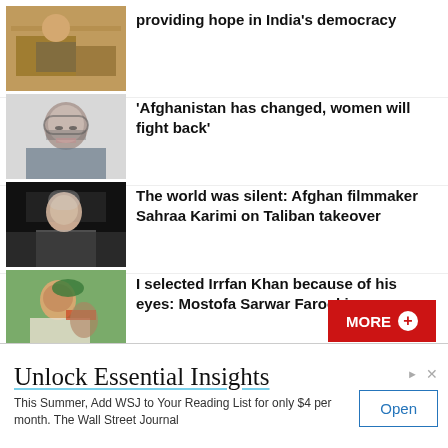[Figure (photo): Person sitting at a desk with papers, warm lighting]
providing hope in India's democracy
[Figure (photo): Woman with glasses, grey hair, looking at camera]
'Afghanistan has changed, women will fight back'
[Figure (photo): Woman in headscarf against dark background]
The world was silent: Afghan filmmaker Sahraa Karimi on Taliban takeover
[Figure (photo): Young man with cap and scarf outdoors]
I selected Irrfan Khan because of his eyes: Mostofa Sarwar Farooki
MORE +
Unlock Essential Insights
This Summer, Add WSJ to Your Reading List for only $4 per month. The Wall Street Journal
Open